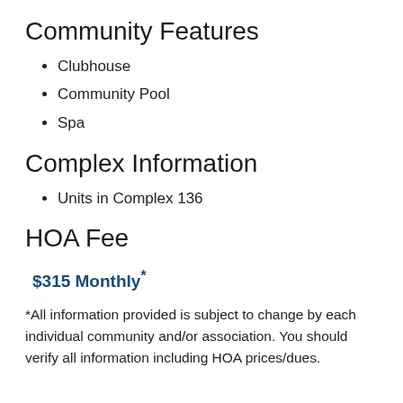Community Features
Clubhouse
Community Pool
Spa
Complex Information
Units in Complex 136
HOA Fee
$315 Monthly*
*All information provided is subject to change by each individual community and/or association. You should verify all information including HOA prices/dues.